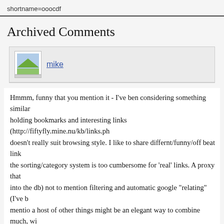shortname=ooocdf
Archived Comments
mike
Hmmm, funny that you mention it - I've ben considering something similar holding bookmarks and interesting links (http://fiftyfly.mine.nu/kb/links.ph doesn't really suit browsing style. I like to share differnt/funny/off beat link the sorting/category system is too cumbersome for 'real' links. A proxy that into the db) not to mention filtering and automatic google "relating" (I've b mentio a host of other things might be an elegant way to combine much, w Thanks for the idea.... I'm going to have to give the whole thought a lot of,
dj
As you'll have the information flowing through such a proxy anyway, how